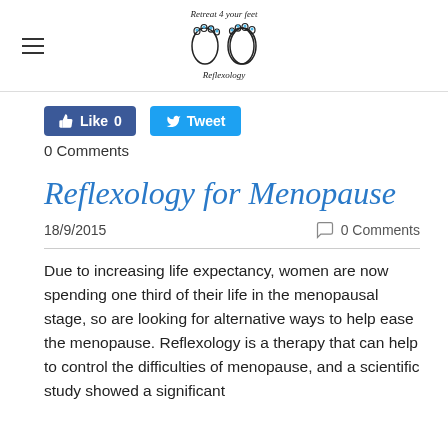[Figure (logo): Retreat 4 your feet Reflexology logo with two foot illustrations and cursive text]
[Figure (infographic): Facebook Like button showing 0 likes and Twitter Tweet button]
0 Comments
Reflexology for Menopause
18/9/2015   0 Comments
Due to increasing life expectancy, women are now spending one third of their life in the menopausal stage, so are looking for alternative ways to help ease the menopause. Reflexology is a therapy that can help to control the difficulties of menopause, and a scientific study showed a significant reduction of hot flashes after receiving a reflexology...